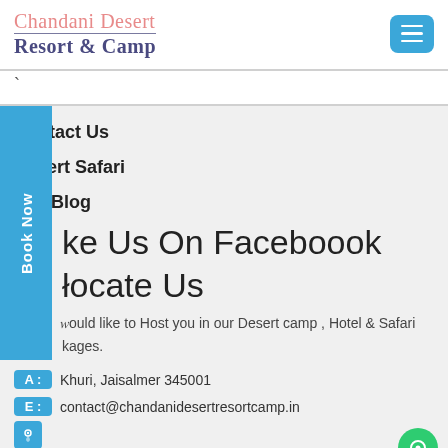Chandani Desert Resort & Camp
Contact Us
Desert Safari
Our Blog
Like Us On Faceboook
Locate Us
would like to Host you in our Desert camp , Hotel & Safari kages.
A : Khuri, Jaisalmer 345001
E : contact@chandanidesertresortcamp.in
P : +91 7877733058